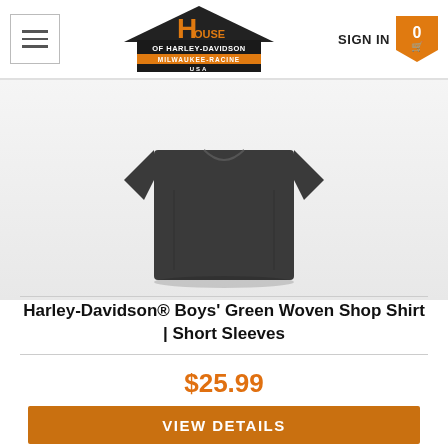House of Harley-Davidson Milwaukee-Racine USA | SIGN IN | Cart: 0
[Figure (photo): Dark grey/charcoal short sleeve woven shop shirt displayed on a flat surface, product image]
Harley-Davidson® Boys' Green Woven Shop Shirt | Short Sleeves
$25.99
VIEW DETAILS
[Figure (photo): Grey hooded product partially visible at bottom of page]